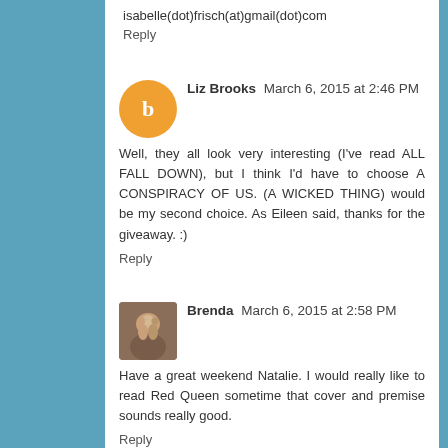isabelle(dot)frisch(at)gmail(dot)com
Reply
Liz Brooks March 6, 2015 at 2:46 PM
Well, they all look very interesting (I've read ALL FALL DOWN), but I think I'd have to choose A CONSPIRACY OF US. (A WICKED THING) would be my second choice. As Eileen said, thanks for the giveaway. :)
Reply
Brenda March 6, 2015 at 2:58 PM
Have a great weekend Natalie. I would really like to read Red Queen sometime that cover and premise sounds really good.
Reply